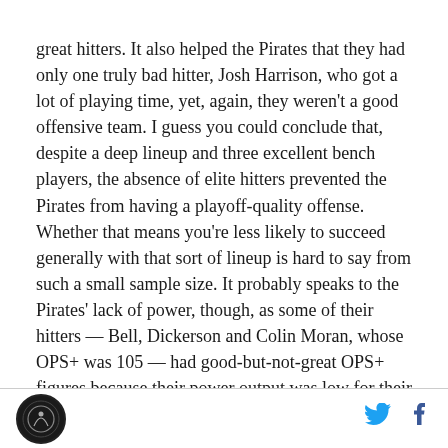great hitters. It also helped the Pirates that they had only one truly bad hitter, Josh Harrison, who got a lot of playing time, yet, again, they weren't a good offensive team. I guess you could conclude that, despite a deep lineup and three excellent bench players, the absence of elite hitters prevented the Pirates from having a playoff-quality offense. Whether that means you're less likely to succeed generally with that sort of lineup is hard to say from such a small sample size. It probably speaks to the Pirates' lack of power, though, as some of their hitters — Bell, Dickerson and Colin Moran, whose OPS+ was 105 — had good-but-not-great OPS+ figures because their power output was low for their positions.
[logo] [twitter] [facebook]